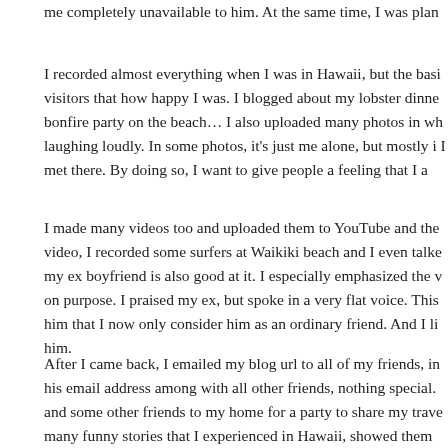me completely unavailable to him. At the same time, I was plan
I recorded almost everything when I was in Hawaii, but the basi visitors that how happy I was. I blogged about my lobster dinne bonfire party on the beach… I also uploaded many photos in wh laughing loudly. In some photos, it's just me alone, but mostly i I met there. By doing so, I want to give people a feeling that I a
I made many videos too and uploaded them to YouTube and the video, I recorded some surfers at Waikiki beach and I even talke my ex boyfriend is also good at it. I especially emphasized the v on purpose. I praised my ex, but spoke in a very flat voice. This him that I now only consider him as an ordinary friend. And I li him.
After I came back, I emailed my blog url to all of my friends, in his email address among with all other friends, nothing special. and some other friends to my home for a party to share my trave many funny stories that I experienced in Hawaii, showed them